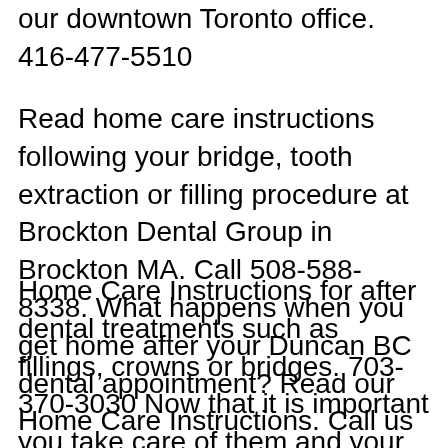our downtown Toronto office. 416-477-5510
Read home care instructions following your bridge, tooth extraction or filling procedure at Brockton Dental Group in Brockton MA. Call 508-588-8338. What happens when you get home after your Duncan BC dental appointment? Read our Home Care Instructions. Call us for assistance: 250-746-6533
Home Care Instructions for after dental treatments such as fillings, crowns or bridges. 703-370-3030 Now that it is important you take care of them and your teeth throughout the orthodontic process.